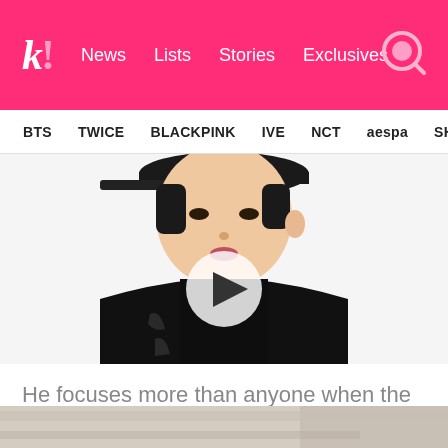k! News Lists Stories Exclusives
BTS TWICE BLACKPINK IVE NCT aespa SHINE
[Figure (photo): Video thumbnail showing a young man in a black cap and black jacket, with a play button overlay in the center]
He focuses more than anyone when the time comes to get down to business…
[Figure (photo): Partial bottom thumbnail image, appears to be a room or interior setting in muted tones]